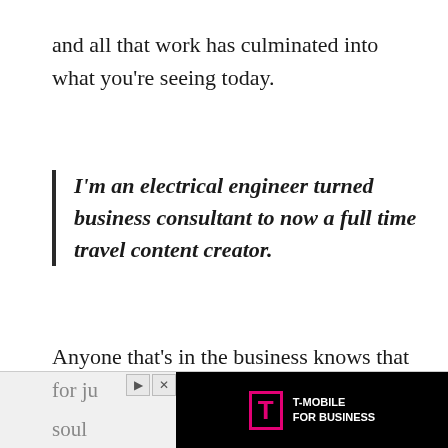and all that work has culminated into what you're seeing today.
I'm an electrical engineer turned business consultant to now a full time travel content creator.
Anyone that's in the business knows that running a blog/channel/brand is no easy task. I learned the hard way as I went from full time blogging to a full time job. It got to the point where I was literally working two jobs. I did it for ju...
[Figure (screenshot): T-Mobile for Business advertisement banner at the bottom of the page]